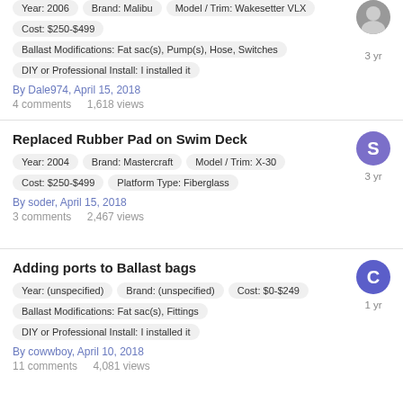Year: 2006 | Brand: Malibu | Model / Trim: Wakesetter VLX | Cost: $250-$499 | Ballast Modifications: Fat sac(s), Pump(s), Hose, Switches | DIY or Professional Install: I installed it | By Dale974, April 15, 2018 | 4 comments | 1,618 views | 3 yr
Replaced Rubber Pad on Swim Deck | Year: 2004 | Brand: Mastercraft | Model / Trim: X-30 | Cost: $250-$499 | Platform Type: Fiberglass | By soder, April 15, 2018 | 3 comments | 2,467 views | 3 yr
Adding ports to Ballast bags | Year: (unspecified) | Brand: (unspecified) | Cost: $0-$249 | Ballast Modifications: Fat sac(s), Fittings | DIY or Professional Install: I installed it | By cowwboy, April 10, 2018 | 11 comments | 4,081 views | 1 yr